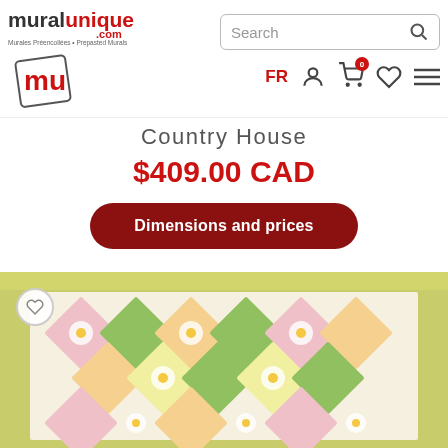[Figure (logo): muralunique.com logo with mu icon in a tilted square]
Search
FR
Country House
$409.00 CAD
Dimensions and prices
[Figure (photo): Floral quilt-pattern wallpaper with daisy flowers in diamond grid pattern on yellow-green background, Country House product image]